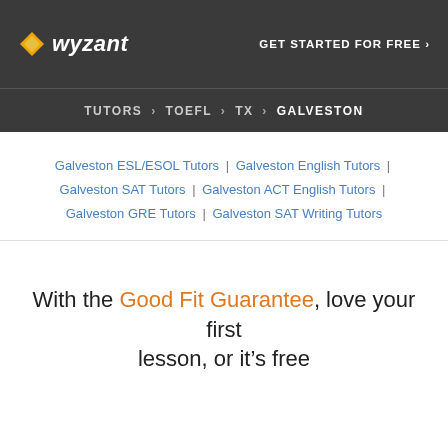wyzant — GET STARTED FOR FREE ›
TUTORS › TOEFL › TX › GALVESTON
Galveston ESL/ESOL Tutors | Galveston English Tutors | Galveston SAT Tutors | Galveston ACT English Tutors | Galveston GRE Tutors | Galveston SAT Writing Tutors
With the Good Fit Guarantee, love your first lesson, or it's free